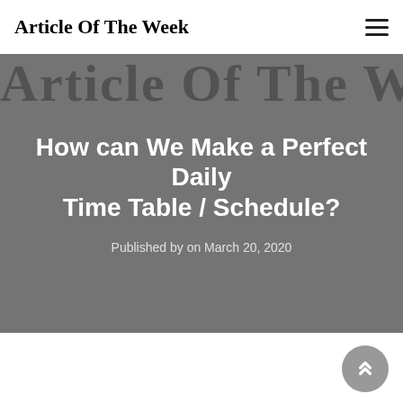Article Of The Week
How can We Make a Perfect Daily Time Table / Schedule?
Published by on March 20, 2020